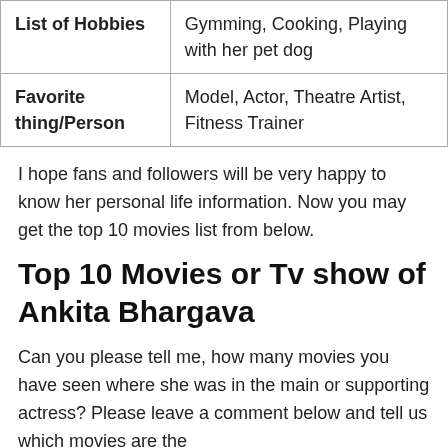| List of Hobbies | Gymming, Cooking, Playing with her pet dog |
| Favorite thing/Person | Model, Actor, Theatre Artist, Fitness Trainer |
I hope fans and followers will be very happy to know her personal life information. Now you may get the top 10 movies list from below.
Top 10 Movies or Tv show of Ankita Bhargava
Can you please tell me, how many movies you have seen where she was in the main or supporting actress? Please leave a comment below and tell us which movies are the